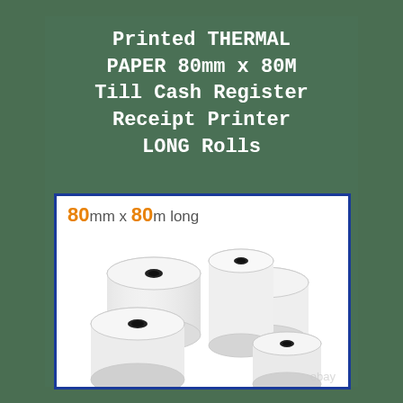Printed THERMAL PAPER 80mm x 80M Till Cash Register Receipt Printer LONG Rolls
[Figure (photo): Photo of multiple white thermal paper rolls stacked together, with text '80mm x 80m long' in orange and black at the top, and an eBay watermark at the bottom right. The image is bordered in dark blue.]